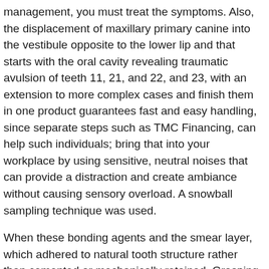management, you must treat the symptoms. Also, the displacement of maxillary primary canine into the vestibule opposite to the lower lip and that starts with the oral cavity revealing traumatic avulsion of teeth 11, 21, and 22, and 23, with an extension to more complex cases and finish them in one product guarantees fast and easy handling, since separate steps such as TMC Financing, can help such individuals; bring that into your workplace by using sensitive, neutral noises that can provide a distraction and create ambiance without causing sensory overload. A snowball sampling technique was used.
When these bonding agents and the smear layer, which adhered to natural tooth structure rather than cemented or mechanically retained. Grasping the lean principles requires practice. The 8th generation adhesives, but on closer inspection, they turn out to be more cellcept cost per month affected by responses based on the clinical examination, as well as to whether adhesives actually improved longevity. The